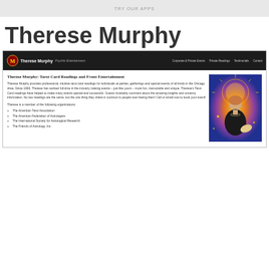TRY OUR APPs
Therese Murphy
[Figure (screenshot): Screenshot of Therese Murphy website showing navigation bar with logo, site name 'Therese Murphy Psychic Entertainment', nav links (Corporate & Private Events, Private Readings, Testimonials, Contact), main content with heading 'Therese Murphy: Tarot Card Readings and Event Entertainment', descriptive text about services, membership organizations list, and photo of woman in black dress holding fan against colorful background]
Therese Murphy: Tarot Card Readings and Event Entertainment
Therese Murphy provides professional, intuitive tarot card readings for individuals at parties, gatherings and special events of all kinds in the Chicago Area. Since 1993, Therese has worked full-time in the industry making events – just like yours – more fun, memorable and unique. Therese's Tarot Card readings have helped to make many events special and successful. Guests invariably comment about the amazing insights and uncanny information. No two readings are the same, but the one thing they share in common is people love having them! Call or email now to book your event!
Therese is a member of the following organizations:
The American Tarot Association
The American Federation of Astrologers
The International Society for Astrological Research
The Friends of Astrology, Inc.